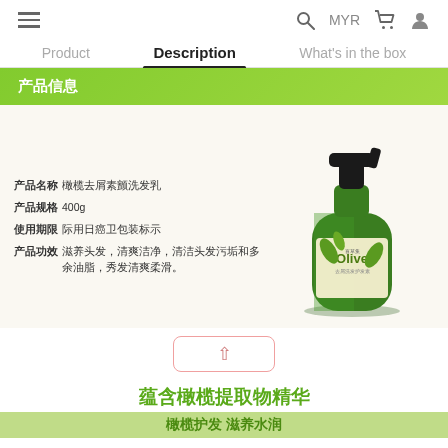≡   MYR 🛒 👤
Product   Description   What's in the box
产品信息
[Figure (photo): Green Olive shampoo bottle with black pump dispenser, label shows 'Olive' branding with olive branches]
产品名称  橄榄去屑素颤洗发乳
产品规格  400g
使用期限  际用日癌卫包装标示
产品功效  滋养头发，清爽洁净，清洁头发污垢和多余油脂，秀发清爽柔滑。
蕴含橄榄提取物精华
橄榄护发 滋养水润